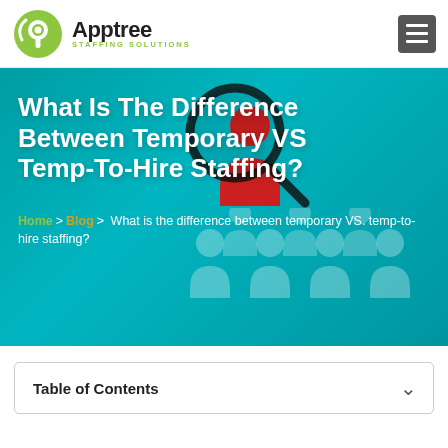[Figure (logo): Apptree Staffing Solutions logo with green circular icon and dark text]
[Figure (photo): Hero banner image showing a hand holding a magnifying glass over red and white people figures on teal background, with article title 'What Is The Difference Between Temporary VS Temp-To-Hire Staffing?' overlaid in white bold text, and breadcrumb navigation below]
What Is The Difference Between Temporary VS Temp-To-Hire Staffing?
Home > Blog > What is the difference between temporary VS. temp-to-hire staffing?
Table of Contents